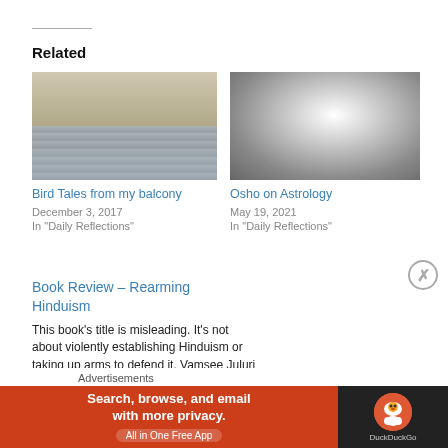Related
[Figure (photo): Photo collage showing a dish/bowl on a surface and architectural/balcony elements with diagonal lines]
Bird Tales from my balcony
December 3, 2017
In "Daily Reflections"
[Figure (photo): Black and white photo of Osho (bearded man in white robe)]
Osho on Astrology
May 19, 2021
In "Daily Reflections"
Book Review – Rearming Hinduism
This book's title is misleading. It's not about violently establishing Hinduism or taking up arms to defend it. Vamsee Juluri is
Advertisements
[Figure (screenshot): DuckDuckGo advertisement banner: Search, browse, and email with more privacy. All in One Free App]